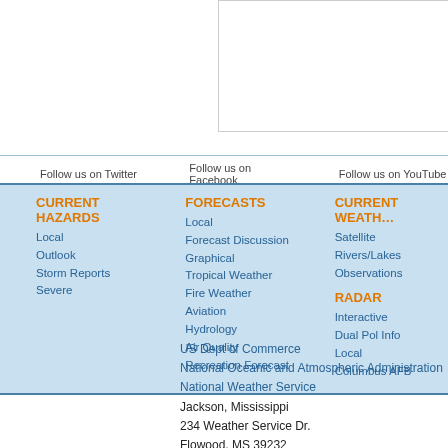Follow us on Twitter | Follow us on Facebook | Follow us on YouTube
CURRENT HAZARDS
Local
Outlook
Storm Reports
Severe
FORECASTS
Local
Forecast Discussion
Graphical
Tropical Weather
Fire Weather
Aviation
Hydrology
Air Quality
Recreation Forecast
CURRENT WEATHER
Satellite
Rivers/Lakes
Observations
RADAR
Interactive
Dual Pol Info
Local
Columbus AFB
US Dept of Commerce
National Oceanic and Atmospheric Administration
National Weather Service
Jackson, Mississippi
234 Weather Service Dr.
Flowood, MS 39232
601-936-2189

Comments? Questions? Please Contact Us.